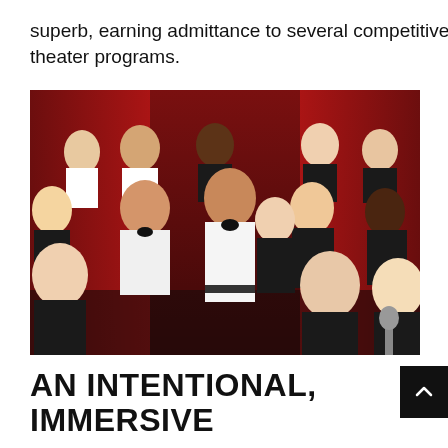superb, earning admittance to several competitive theater programs.
[Figure (photo): A group of high school choir students performing on stage in front of a red curtain. Students in the front wear black attire, while male students in the middle wear white dress shirts with black bow ties. Students are singing with mouths open.]
AN INTENTIONAL, IMMERSIVE